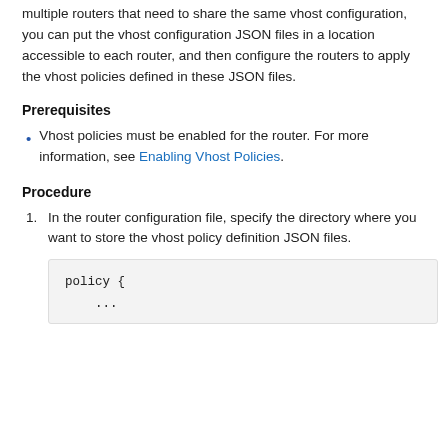multiple routers that need to share the same vhost configuration, you can put the vhost configuration JSON files in a location accessible to each router, and then configure the routers to apply the vhost policies defined in these JSON files.
Prerequisites
Vhost policies must be enabled for the router. For more information, see Enabling Vhost Policies.
Procedure
In the router configuration file, specify the directory where you want to store the vhost policy definition JSON files.
policy {
    ...